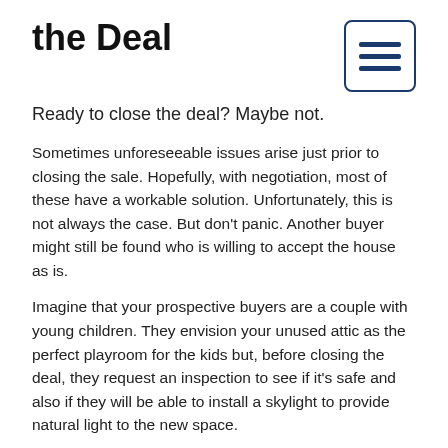the Deal
Ready to close the deal? Maybe not.
Sometimes unforeseeable issues arise just prior to closing the sale. Hopefully, with negotiation, most of these have a workable solution. Unfortunately, this is not always the case. But don't panic. Another buyer might still be found who is willing to accept the house as is.
Imagine that your prospective buyers are a couple with young children. They envision your unused attic as the perfect playroom for the kids but, before closing the deal, they request an inspection to see if it's safe and also if they will be able to install a skylight to provide natural light to the new space.
This inspection reveals that under the shingles that are in good condition is a roof that will only last another year or two. The prospective buyers immediately balk, not wanting to incur the time and cost of replacing the roof. Their plans were to move in and only have to spend time